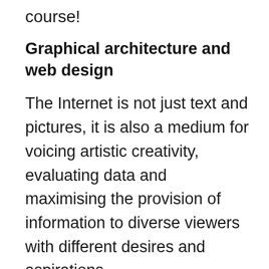course!
Graphical architecture and web design
The Internet is not just text and pictures, it is also a medium for voicing artistic creativity, evaluating data and maximising the provision of information to diverse viewers with different desires and aspirations.
The purpose, organisation and architecture of the website shall be balanced by visuals. You may enhance web architecture, interface or informative material without distracting focus.